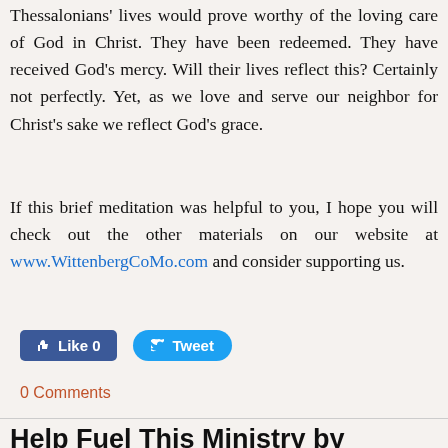Thessalonians' lives would prove worthy of the loving care of God in Christ. They have been redeemed. They have received God's mercy. Will their lives reflect this? Certainly not perfectly. Yet, as we love and serve our neighbor for Christ's sake we reflect God's grace.
If this brief meditation was helpful to you, I hope you will check out the other materials on our website at www.WittenbergCoMo.com and consider supporting us.
[Figure (other): Facebook Like button showing 'Like 0' and Twitter Tweet button]
0 Comments
Help Fuel This Ministry by Clicking Here!
All the work of Wittenberg Door Campus Ministry, including